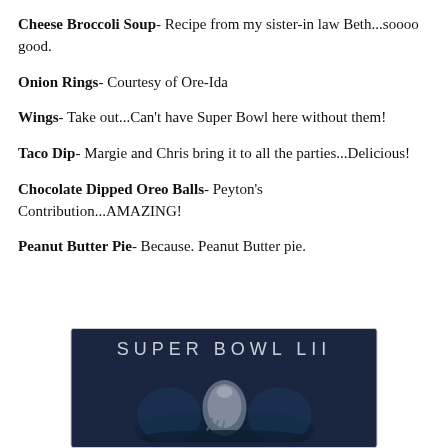Cheese Broccoli Soup- Recipe from my sister-in law Beth...soooo good.
Onion Rings- Courtesy of Ore-Ida
Wings- Take out...Can't have Super Bowl here without them!
Taco Dip- Margie and Chris bring it to all the parties...Delicious!
Chocolate Dipped Oreo Balls- Peyton's Contribution...AMAZING!
Peanut Butter Pie- Because. Peanut Butter pie.
[Figure (photo): Super Bowl LII promotional image with dark blue/teal background showing football helmet and 'SUPER BOWL LII' text in spaced letters]